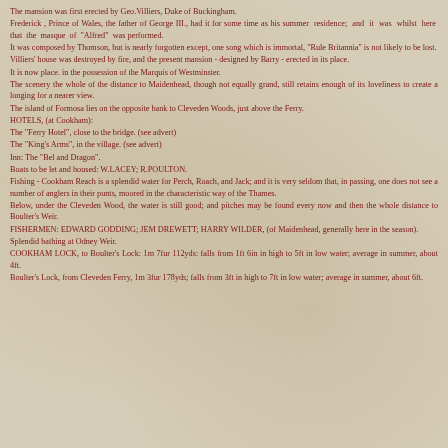The mansion was first erected by Geo.Villiers, Duke of Buckingham.
Frederick , Prince of Wales, the father of George III., had it for some time as his summer residence; and it was whilst here that the masque of "Alfred" was performed.
It was composed by Thomson, but is nearly forgotten except, one song which is immortal, "Rule Britannia" is not likely to be lost.
Villiers' house was destroyed by fire, and the present mansion - designed by Barry - erected in its place.
It is now place. in the possession of the Marquis of Westminster.
The scenery the whole of the distance to Maidenhead, though not equally grand, still retains enough of its loveliness to create a longing for a nearer view.
The island of Formosa lies on the opposite bank to Cleveden Woods, just above the Ferry.
HOTELS, (at Cookham):
The "Ferry Hotel", close to the bridge. (see advert)
The "King's Arms", in the village. (see advert)
Inn: The "Bel and Dragon".
Boats to be let and housed: W.LACEY; R.POULTON.
Fishing - Cookham Reach is a splendid water for Perch, Roach, and Jack; and it is very seldom that, in passing, one does not see a number of anglers in their punts, moored in the characteristic way of the Thames.
Below, under the Cleveden Wood, the water is still good; and pitches may be found every now and then the whole distance to Boulter's Weir.
FISHERMEN: EDWARD GODDING; JEM DREWETT; HARRY WILDER, (of Maidenhead, generally here in the season).
Splendid bathing at Odney Weir.
COOKHAM LOCK, to Boulter's Lock: 1m 7fur 112yds: falls from 1ft 6in in high to 5ft in low water; average in summer, about 4ft.
Boulter's Lock, from Cleveden Ferry, 1m 3fur 178yds; falls from 3ft in high to 7ft in low water; average in summer, about 6ft.